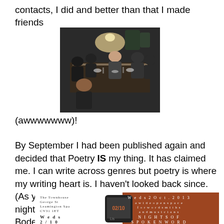contacts, I did and better than that I made friends
[Figure (photo): Photograph of people seated around a dinner table in a dimly lit room, socializing]
(awwwwwww)!
By September I had been published again and decided that Poetry IS my thing. It has claimed me. I can write across genres but poetry is where my writing heart is. I haven't looked back since. (As you know from all my posts about Open Mic night's which started back in October with Julie Boden.)
[Figure (photo): Event flyer for Open Mic night - Weds 2 Oct. 2013, a wide open space for wordsmiths and musicians, Nights of Spoken Word, The Townhouse George St Leamington Spa CV31 1ET, Weds 2/10]